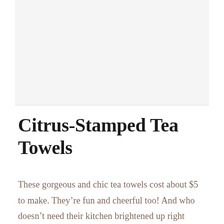[Figure (photo): Light gray image placeholder area at top of page]
Citrus-Stamped Tea Towels
These gorgeous and chic tea towels cost about $5 to make. They’re fun and cheerful too! And who doesn’t need their kitchen brightened up right about now?